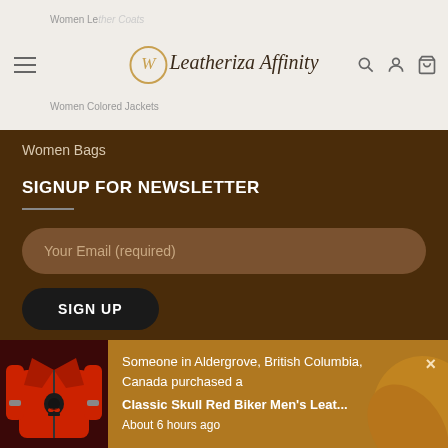Women Leather Coats | Leatheriza Affinity | Women Colored Jackets
Women Bags
SIGNUP FOR NEWSLETTER
Your Email (required)
SIGN UP
Someone in Aldergrove, British Columbia, Canada purchased a Classic Skull Red Biker Men's Leat... About 6 hours ago